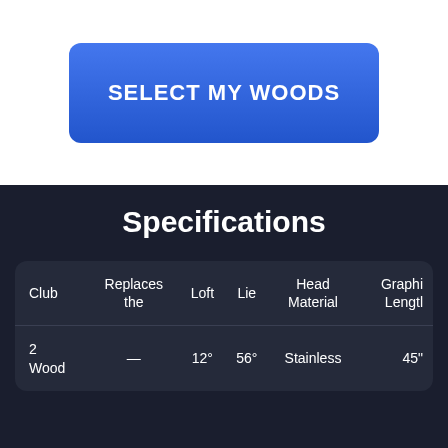SELECT MY WOODS
Specifications
| Club | Replaces the | Loft | Lie | Head Material | Graphi Lengtl |
| --- | --- | --- | --- | --- | --- |
| 2 Wood | — | 12° | 56° | Stainless | 45" |